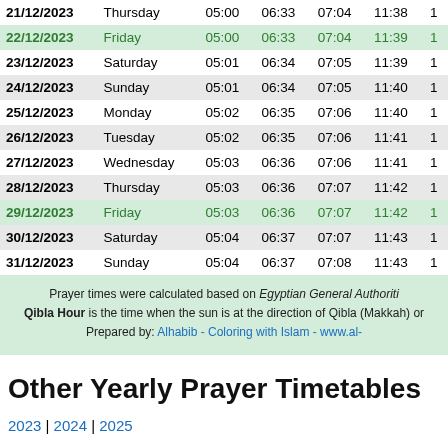| Date | Day | Col3 | Col4 | Col5 | Col6 | Col7 |
| --- | --- | --- | --- | --- | --- | --- |
| 21/12/2023 | Thursday | 05:00 | 06:33 | 07:04 | 11:38 | 1 |
| 22/12/2023 | Friday | 05:00 | 06:33 | 07:04 | 11:39 | 1 |
| 23/12/2023 | Saturday | 05:01 | 06:34 | 07:05 | 11:39 | 1 |
| 24/12/2023 | Sunday | 05:01 | 06:34 | 07:05 | 11:40 | 1 |
| 25/12/2023 | Monday | 05:02 | 06:35 | 07:06 | 11:40 | 1 |
| 26/12/2023 | Tuesday | 05:02 | 06:35 | 07:06 | 11:41 | 1 |
| 27/12/2023 | Wednesday | 05:03 | 06:36 | 07:06 | 11:41 | 1 |
| 28/12/2023 | Thursday | 05:03 | 06:36 | 07:07 | 11:42 | 1 |
| 29/12/2023 | Friday | 05:03 | 06:36 | 07:07 | 11:42 | 1 |
| 30/12/2023 | Saturday | 05:04 | 06:37 | 07:07 | 11:43 | 1 |
| 31/12/2023 | Sunday | 05:04 | 06:37 | 07:08 | 11:43 | 1 |
Prayer times were calculated based on Egyptian General Authorit... Qibla Hour is the time when the sun is at the direction of Qibla (Makkah) or... Prepared by: Alhabib - Coloring with Islam - www.al-...
Other Yearly Prayer Timetables
2023 | 2024 | 2025